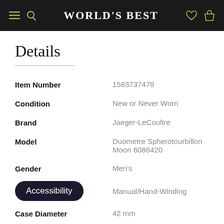World's Best
Details
| Field | Value |
| --- | --- |
| Item Number | 1583737478 |
| Condition | New or Never Worn |
| Brand | Jaeger-LeCoultre |
| Model | Duometre Spherotourbillon Moon 6086420 |
| Gender | Men's |
| Accessibility | Manual/Hand-Winding |
| Case Diameter | 42 mm |